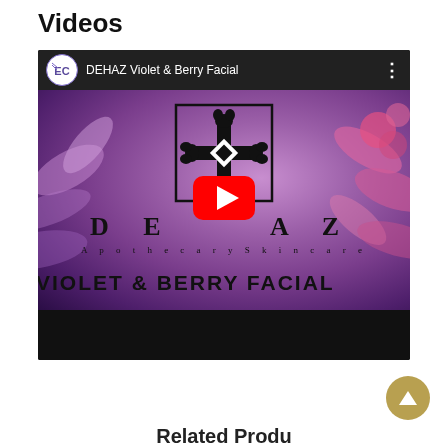Videos
[Figure (screenshot): YouTube video thumbnail for DEHAZ Violet & Berry Facial skincare product video. Shows a purple/berry-toned background with flower petals, DEHAZ Apothecary Skincare logo with ornate cross design, text 'VIOLET & BERRY FACIAL', and a YouTube play button overlay. Top bar shows channel avatar 'EC' and video title 'DEHAZ Violet & Berry Facial'.]
Related Products